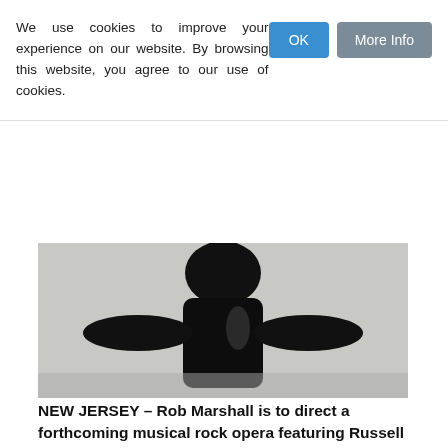We use cookies to improve your experience on our website. By browsing this website, you agree to our use of cookies.
[Figure (photo): Black and white photo of a performer on stage, partially cropped, showing dark figure against a light background]
NEW JERSEY – Rob Marshall is to direct a forthcoming musical rock opera featuring Russell Crowe as the legendary singer-songwriter Billy Joel.
We didn't Start the Fire tells the story of a trio of dishonest pyromaniacs, and will feature performances from Hugh Jackman, Russell Crowe and Danny DeVito.